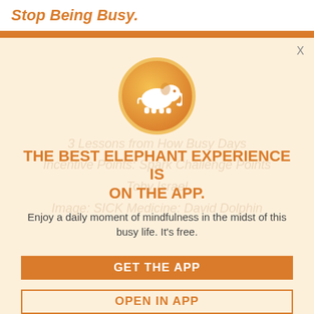Stop Being Busy.
[Figure (illustration): Orange circle with white elephant silhouette icon]
THE BEST ELEPHANT EXPERIENCE IS ON THE APP.
Enjoy a daily moment of mindfulness in the midst of this busy life. It's free.
GET THE APP
OPEN IN APP